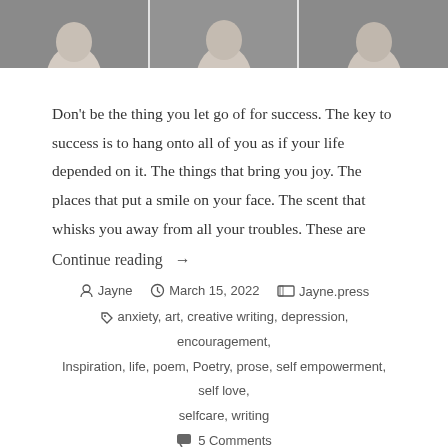[Figure (photo): Three-panel strip of a person in a white tank top, photographed from the shoulders up against a dark background]
Don't be the thing you let go of for success. The key to success is to hang onto all of you as if your life depended on it. The things that bring you joy. The places that put a smile on your face. The scent that whisks you away from all your troubles. These are
Continue reading →
Jayne  March 15, 2022  Jayne.press
anxiety, art, creative writing, depression, encouragement, Inspiration, life, poem, Poetry, prose, self empowerment, self love, selfcare, writing
5 Comments